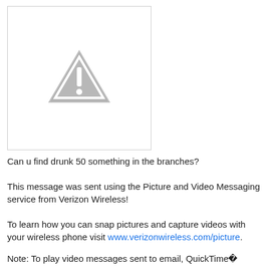[Figure (other): A grey warning/caution triangle icon with exclamation mark on a white background with a light border]
Can u find drunk 50 something in the branches?
This message was sent using the Picture and Video Messaging service from Verizon Wireless!
To learn how you can snap pictures and capture videos with your wireless phone visit www.verizonwireless.com/picture.
Note: To play video messages sent to email, QuickTime®